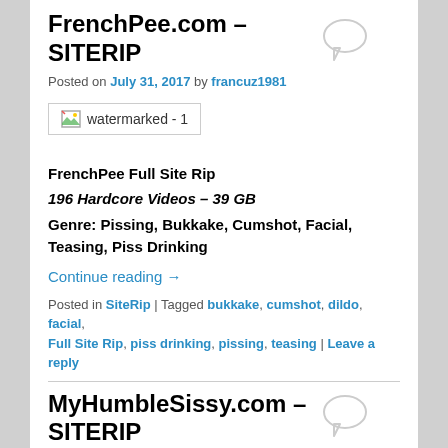FrenchPee.com – SITERIP
Posted on July 31, 2017 by francuz1981
[Figure (other): Broken image placeholder with text 'watermarked - 1']
FrenchPee Full Site Rip
196 Hardcore Videos – 39 GB
Genre: Pissing, Bukkake, Cumshot, Facial, Teasing, Piss Drinking
Continue reading →
Posted in SiteRip | Tagged bukkake, cumshot, dildo, facial, Full Site Rip, piss drinking, pissing, teasing | Leave a reply
MyHumbleSissy.com – SITERIP